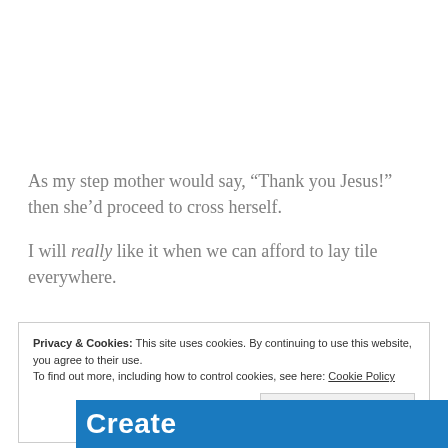As my step mother would say, “Thank you Jesus!” then she’d proceed to cross herself.
I will really like it when we can afford to lay tile everywhere.
Privacy & Cookies: This site uses cookies. By continuing to use this website, you agree to their use.
To find out more, including how to control cookies, see here: Cookie Policy
Close and accept
[Figure (other): Bottom banner with blue background showing the word 'Create' in white bold text, with a partial photo to the right.]